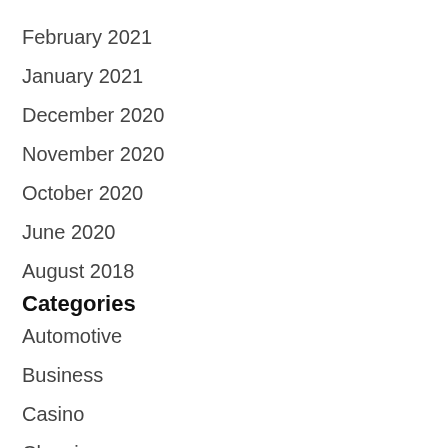February 2021
January 2021
December 2020
November 2020
October 2020
June 2020
August 2018
Categories
Automotive
Business
Casino
Cleaning
Dating
Dental